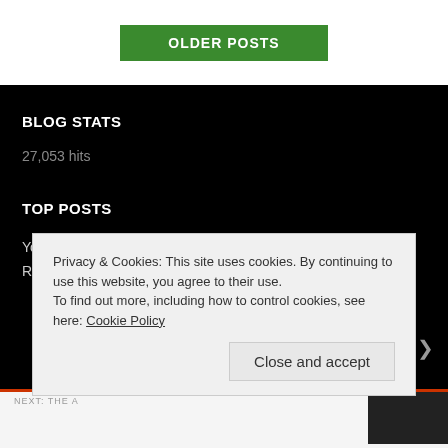[Figure (screenshot): Green 'OLDER POSTS' button on white background]
BLOG STATS
27,053 hits
TOP POSTS
Youth Oriented Camera From Fuji
Privacy & Cookies: This site uses cookies. By continuing to use this website, you agree to their use.
To find out more, including how to control cookies, see here: Cookie Policy
Close and accept